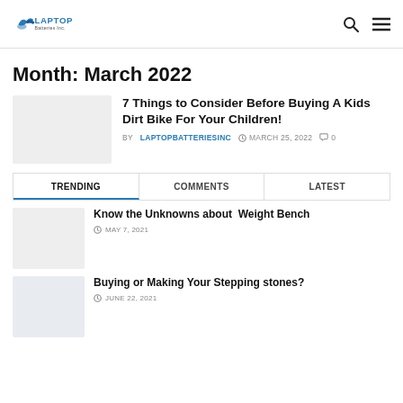Laptop Batteries Inc.
Month: March 2022
7 Things to Consider Before Buying A Kids Dirt Bike For Your Children!
BY LAPTOPBATTERIESINC  MARCH 25, 2022  0
TRENDING  COMMENTS  LATEST
Know the Unknowns about Weight Bench
MAY 7, 2021
Buying or Making Your Stepping stones?
JUNE 22, 2021